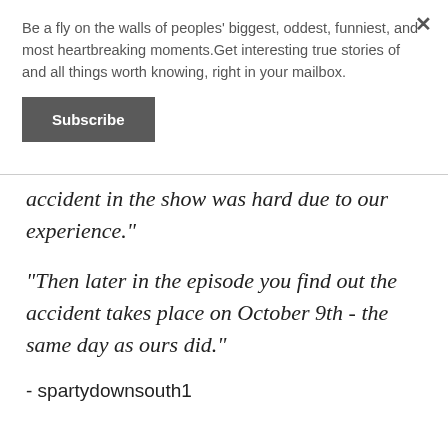Be a fly on the walls of peoples' biggest, oddest, funniest, and most heartbreaking moments.Get interesting true stories of and all things worth knowing, right in your mailbox.
Subscribe
accident in the show was hard due to our experience."
"Then later in the episode you find out the accident takes place on October 9th - the same day as ours did."
- spartydownsouth1